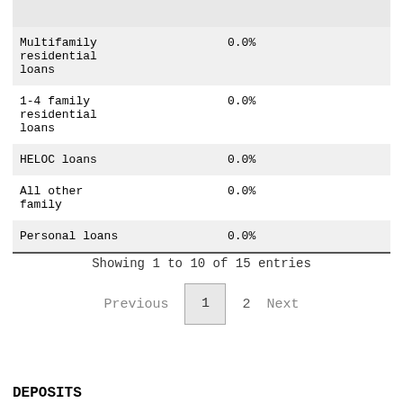| Loan Type | Rate |
| --- | --- |
|  |  |
| Multifamily residential loans | 0.0% |
| 1-4 family residential loans | 0.0% |
| HELOC loans | 0.0% |
| All other family | 0.0% |
| Personal loans | 0.0% |
Showing 1 to 10 of 15 entries
Previous  1  2  Next
DEPOSITS